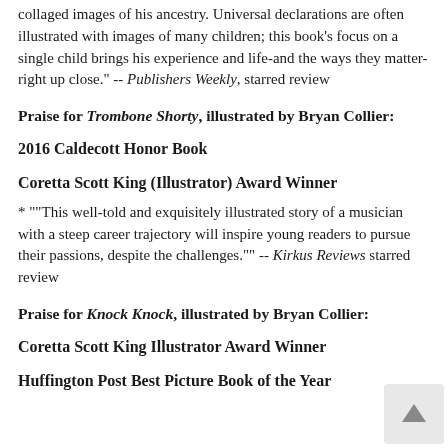collaged images of his ancestry. Universal declarations are often illustrated with images of many children; this book's focus on a single child brings his experience and life-and the ways they matter-right up close." -- Publishers Weekly, starred review
Praise for Trombone Shorty, illustrated by Bryan Collier:
2016 Caldecott Honor Book
Coretta Scott King (Illustrator) Award Winner
* ""This well-told and exquisitely illustrated story of a musician with a steep career trajectory will inspire young readers to pursue their passions, despite the challenges."" -- Kirkus Reviews starred review
Praise for Knock Knock, illustrated by Bryan Collier:
Coretta Scott King Illustrator Award Winner
Huffington Post Best Picture Book of the Year